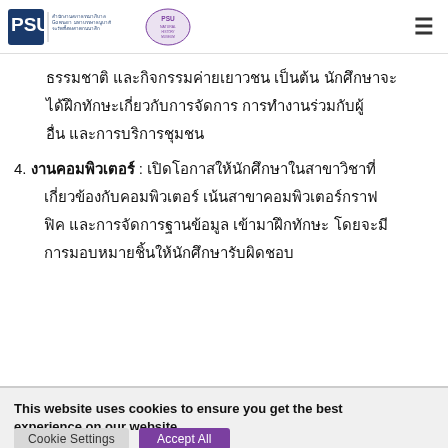PSU — Prince of Songkla University header with logos and hamburger menu
ธรรมชาติ และกิจกรรมค่ายเยาวชน เป็นต้น นักศึกษาจะได้ฝึกทักษะเกี่ยวกับการจัดการ การทำงานร่วมกับผู้อื่น และการบริการชุมชน
4. งานคอมพิวเตอร์ : เปิดโอกาสให้นักศึกษาในสาขาวิชาที่เกี่ยวข้องกับคอมพิวเตอร์ เน้นสาขาคอมพิวเตอร์กราฟฟิค และการจัดการฐานข้อมูล เข้ามาฝึกทักษะ โดยจะมีการมอบหมายชิ้นให้นักศึกษารับผิดชอบ
This website uses cookies to ensure you get the best experience on our website.
Cookie Settings   Accept All